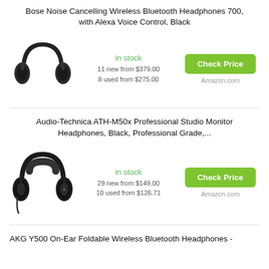Bose Noise Cancelling Wireless Bluetooth Headphones 700, with Alexa Voice Control, Black
[Figure (photo): Black Bose over-ear wireless headphones product image]
in stock
11 new from $379.00
8 used from $275.00
Check Price
Amazon.com
Audio-Technica ATH-M50x Professional Studio Monitor Headphones, Black, Professional Grade,...
[Figure (photo): Black Audio-Technica ATH-M50x over-ear studio monitor headphones product image]
in stock
29 new from $149.00
10 used from $126.71
Check Price
Amazon.com
AKG Y500 On-Ear Foldable Wireless Bluetooth Headphones -